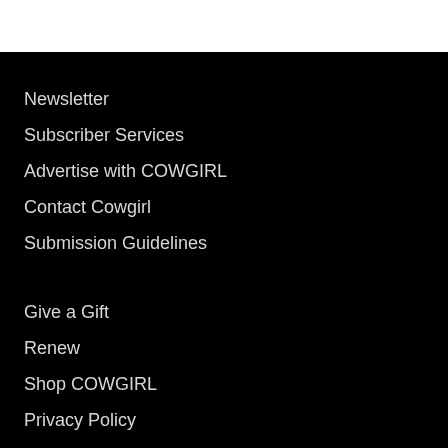Newsletter
Subscriber Services
Advertise with COWGIRL
Contact Cowgirl
Submission Guidelines
Give a Gift
Renew
Shop COWGIRL
Privacy Policy
Terms of Use